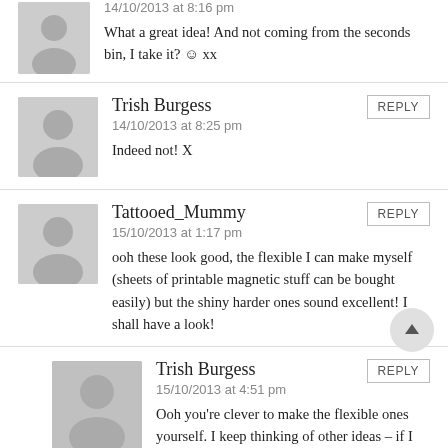What a great idea! And not coming from the seconds bin, I take it? ☺ xx
14/10/2013 at 8:16 pm
Trish Burgess
14/10/2013 at 8:25 pm
Indeed not! X
Tattooed_Mummy
15/10/2013 at 1:17 pm
ooh these look good, the flexible I can make myself (sheets of printable magnetic stuff can be bought easily) but the shiny harder ones sound excellent! I shall have a look!
Trish Burgess
15/10/2013 at 4:51 pm
Ooh you're clever to make the flexible ones yourself. I keep thinking of other ideas – if I